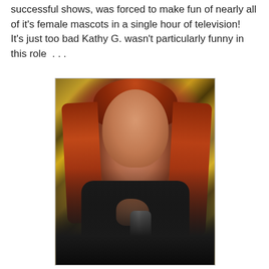successful shows, was forced to make fun of nearly all of it's female mascots in a single hour of television!  It's just too bad Kathy G. wasn't particularly funny in this role  . . .
[Figure (photo): Photo of a red-haired woman with blue eyes wearing black, holding a vintage silver microphone, posed in front of a gold/silver sparkly tinsel curtain backdrop]